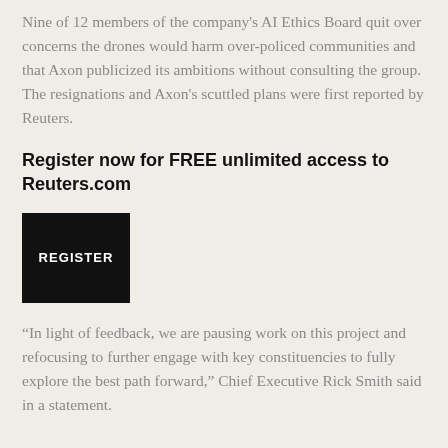Nine of 12 members of the company's AI Ethics Board quit over concerns the drones would harm over-policed communities and that Axon publicized its ambitions without consulting the group. The resignations and Axon's scuttled plans were first reported by Reuters.
Register now for FREE unlimited access to Reuters.com
[Figure (other): Black rectangular button with white uppercase text reading REGISTER]
“In light of feedback, we are pausing work on this project and refocusing to further engage with key constituencies to fully explore the best path forward,” Chief Executive Rick Smith said in a statement.